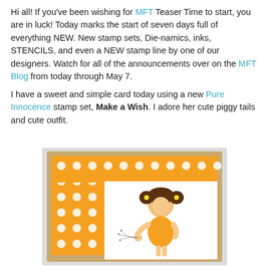Hi all!  If you've been wishing for MFT Teaser Time to start, you are in luck!  Today marks the start of seven days full of everything NEW.  New stamp sets, Die-namics, inks, STENCILS, and even a NEW stamp line by one of our designers.  Watch for all of the announcements over on the MFT Blog from today through May 7.
I have a sweet and simple card today using a new Pure Innocence stamp set, Make a Wish.  I adore her cute piggy tails and cute outfit.
[Figure (illustration): A handmade greeting card featuring a little girl with piggy tails in an orange dress blowing a dandelion, set against an orange polka-dot background mounted on a kraft cardstock frame.]